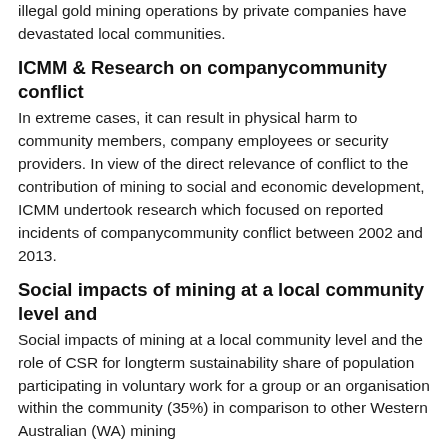illegal gold mining operations by private companies have devastated local communities.
ICMM & Research on companycommunity conflict
In extreme cases, it can result in physical harm to community members, company employees or security providers. In view of the direct relevance of conflict to the contribution of mining to social and economic development, ICMM undertook research which focused on reported incidents of companycommunity conflict between 2002 and 2013.
Social impacts of mining at a local community level and
Social impacts of mining at a local community level and the role of CSR for longterm sustainability share of population participating in voluntary work for a group or an organisation within the community (35%) in comparison to other Western Australian (WA) mining